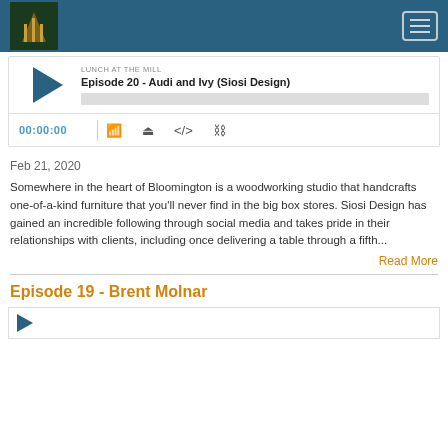LUNCH AT THE MILL
[Figure (screenshot): Podcast player for Episode 20 - Audi and Ivy (Siosi Design) with play button, progress bar, time display 00:00:00, and control icons]
Feb 21, 2020
Somewhere in the heart of Bloomington is a woodworking studio that handcrafts one-of-a-kind furniture that you'll never find in the big box stores. Siosi Design has gained an incredible following through social media and takes pride in their relationships with clients, including once delivering a table through a fifth...
Read More
Episode 19 - Brent Molnar